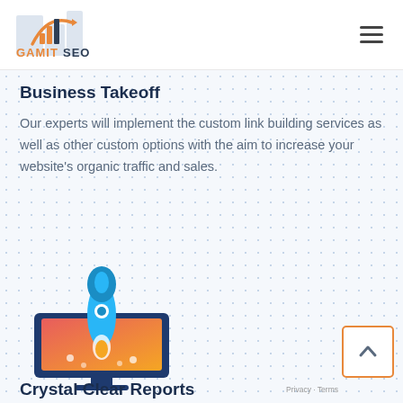[Figure (logo): GamitSEO logo with orange bar chart icon and orange/dark text]
Business Takeoff
Our experts will implement the custom link building services as well as other custom options with the aim to increase your website's organic traffic and sales.
[Figure (illustration): Rocket launching from a computer monitor icon with orange/red gradient background]
Crystal Clear Reports